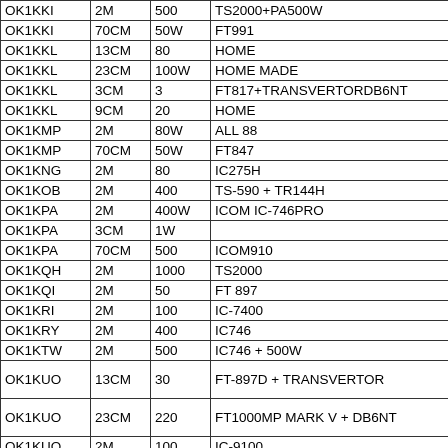| OK1KKI | 2M | 500 | TS2000+PA500W |
| OK1KKI | 70CM | 50W | FT991 |
| OK1KKL | 13CM | 80 | HOME |
| OK1KKL | 23CM | 100W | HOME MADE |
| OK1KKL | 3CM | 3 | FT817+TRANSVERTORDB6NT |
| OK1KKL | 9CM | 20 | HOME |
| OK1KMP | 2M | 80W | ALL 88 |
| OK1KMP | 70CM | 50W | FT847 |
| OK1KNG | 2M | 80 | IC275H |
| OK1KOB | 2M | 400 | TS-590 + TR144H |
| OK1KPA | 2M | 400W | ICOM IC-746PRO |
| OK1KPA | 3CM | 1W |  |
| OK1KPA | 70CM | 500 | ICOM910 |
| OK1KQH | 2M | 1000 | TS2000 |
| OK1KQI | 2M | 50 | FT 897 |
| OK1KRI | 2M | 100 | IC-7400 |
| OK1KRY | 2M | 400 | IC746 |
| OK1KTW | 2M | 500 | IC746 + 500W |
| OK1KUO | 13CM | 30 | FT-897D + TRANSVERTOR |
| OK1KUO | 23CM | 220 | FT1000MP MARK V + DB6NT |
| OK1KUO | 2M | 100 | IC-9100 |
| OK1KUO | 70CM | 50 | IC-9100 |